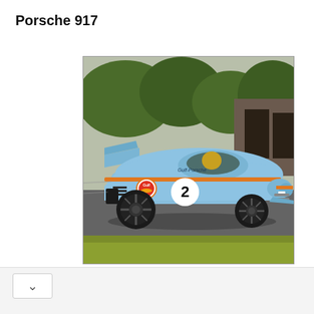Porsche 917
[Figure (photo): A Gulf-Porsche 917 race car in light blue livery with number 2, driving on a track. The car features the iconic Gulf Oil orange and blue color scheme with 'Gulf-Porsche' text on the bodywork.]